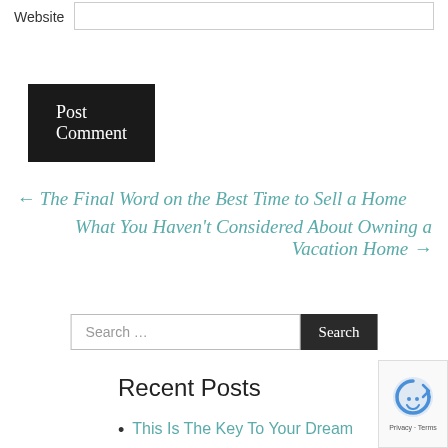Website
Post Comment
← The Final Word on the Best Time to Sell a Home
What You Haven't Considered About Owning a Vacation Home →
Search ...
Recent Posts
This Is The Key To Your Dream